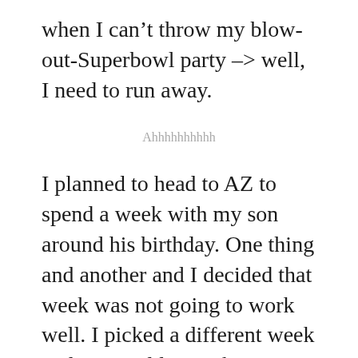when I can't throw my blow-out-Superbowl party –> well, I need to run away.
Ahhhhhhhhhh
I planned to head to AZ to spend a week with my son around his birthday. One thing and another and I decided that week was not going to work well. I picked a different week and HE couldn't make it. 2 days after I cancelled THOSE tickets/plans, we had another disgustingly damp, gray, miserable northeastern weather event